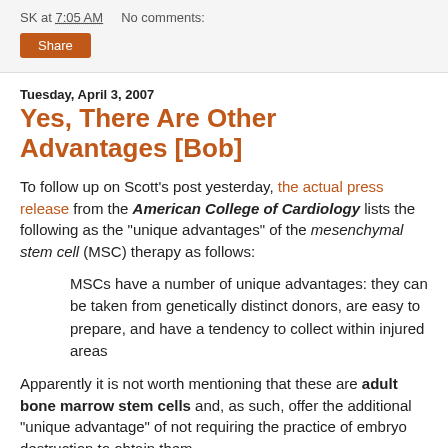SK at 7:05 AM   No comments:
Share
Tuesday, April 3, 2007
Yes, There Are Other Advantages [Bob]
To follow up on Scott's post yesterday, the actual press release from the American College of Cardiology lists the following as the "unique advantages" of the mesenchymal stem cell (MSC) therapy as follows:
MSCs have a number of unique advantages: they can be taken from genetically distinct donors, are easy to prepare, and have a tendency to collect within injured areas
Apparently it is not worth mentioning that these are adult bone marrow stem cells and, as such, offer the additional "unique advantage" of not requiring the practice of embryo destruction to obtain them.